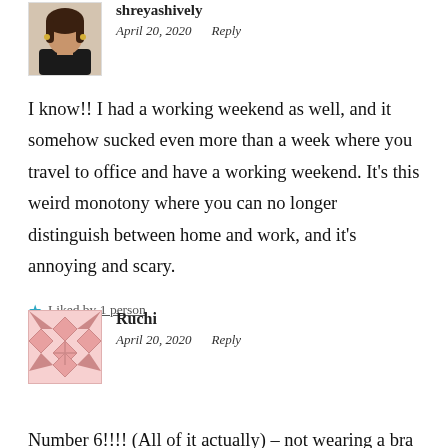shreyashively
April 20, 2020   Reply
I know!! I had a working weekend as well, and it somehow sucked even more than a week where you travel to office and have a working weekend. It’s this weird monotony where you can no longer distinguish between home and work, and it’s annoying and scary.
Liked by 1 person
[Figure (illustration): Photo of shreyashively - a woman with long hair wearing a black top and earrings]
Ruchi
April 20, 2020   Reply
[Figure (illustration): Avatar/logo for Ruchi - a geometric pink pattern with diamond/cross shapes]
Number 6!!!! (All of it actually) – not wearing a bra is the best